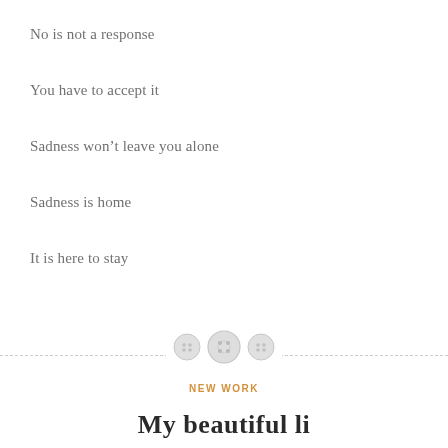No is not a response
You have to accept it
Sadness won't leave you alone
Sadness is home
It is here to stay
[Figure (illustration): Three decorative button icons centered on a dashed horizontal divider line]
NEW WORK
My beautiful li...